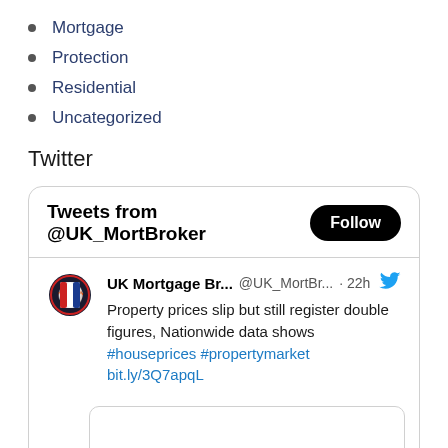Mortgage
Protection
Residential
Uncategorized
Twitter
[Figure (screenshot): Twitter widget showing Tweets from @UK_MortBroker with a Follow button, and a tweet from UK Mortgage Br... @UK_MortBr... 22h: Property prices slip but still register double figures, Nationwide data shows #houseprices #propertymarket bit.ly/3Q7apqL, with a partially visible tweet image below.]